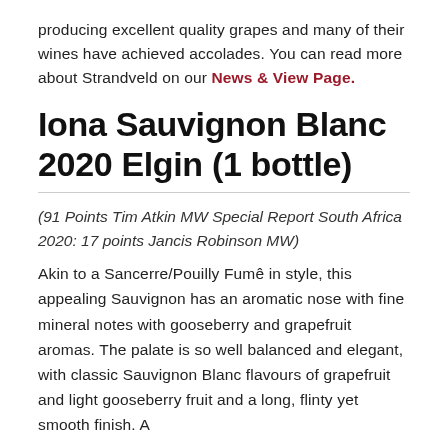producing excellent quality grapes and many of their wines have achieved accolades. You can read more about Strandveld on our News & View Page.
Iona Sauvignon Blanc 2020 Elgin (1 bottle)
(91 Points Tim Atkin MW Special Report South Africa 2020: 17 points Jancis Robinson MW)
Akin to a Sancerre/Pouilly Fumê in style, this appealing Sauvignon has an aromatic nose with fine mineral notes with gooseberry and grapefruit aromas. The palate is so well balanced and elegant, with classic Sauvignon Blanc flavours of grapefruit and light gooseberry fruit and a long, flinty yet smooth finish. A